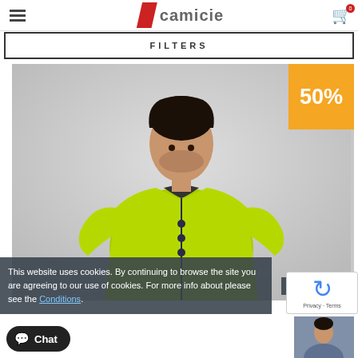7camicie — FILTERS
[Figure (photo): Man wearing a lime green short-sleeve fitted shirt with mandarin collar, with a 50% discount badge in orange in the upper right corner of the product image]
This website uses cookies. By continuing to browse the site you are agreeing to our use of cookies. For more info about please see the Conditions.
close
Chat